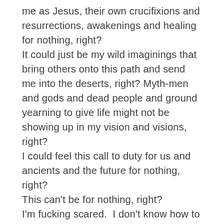me as Jesus, their own crucifixions and resurrections, awakenings and healing for nothing, right? It could just be my wild imaginings that bring others onto this path and send me into the deserts, right? Myth-men and gods and dead people and ground yearning to give life might not be showing up in my vision and visions, right? I could feel this call to duty for us and ancients and the future for nothing, right? This can't be for nothing, right? I'm fucking scared.  I don't know how to go on but I can't stop.  Yet, I feel like the poster-child for 'abandon all hope, ye who enter here'.  Why would anyone want to follow this path with me, behind